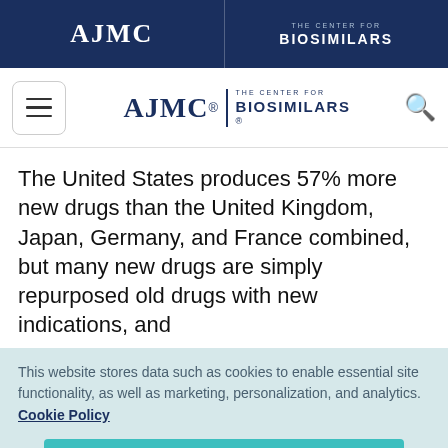AJMC | THE CENTER FOR BIOSIMILARS
[Figure (logo): AJMC The Center for Biosimilars navigation logo with hamburger menu and search icon]
The United States produces 57% more new drugs than the United Kingdom, Japan, Germany, and France combined, but many new drugs are simply repurposed old drugs with new indications, and
This website stores data such as cookies to enable essential site functionality, as well as marketing, personalization, and analytics. Cookie Policy
Accept
Deny